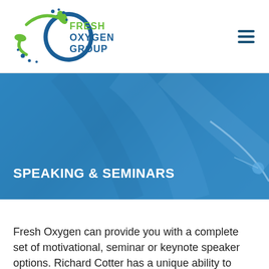[Figure (logo): Fresh Oxygen Group logo: green and blue circular swoosh with green leaf accents and dots, company name in blue and green text]
SPEAKING & SEMINARS
Fresh Oxygen can provide you with a complete set of motivational, seminar or keynote speaker options. Richard Cotter has a unique ability to inspire and